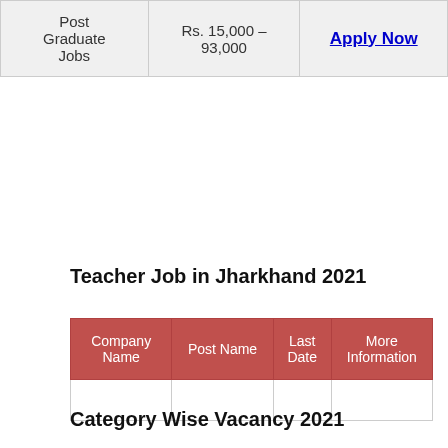|  |  |  |
| --- | --- | --- |
| Post Graduate Jobs | Rs. 15,000 – 93,000 | Apply Now |
Teacher Job in Jharkhand 2021
| Company Name | Post Name | Last Date | More Information |
| --- | --- | --- | --- |
|  |  |  |  |
Category Wise Vacancy 2021